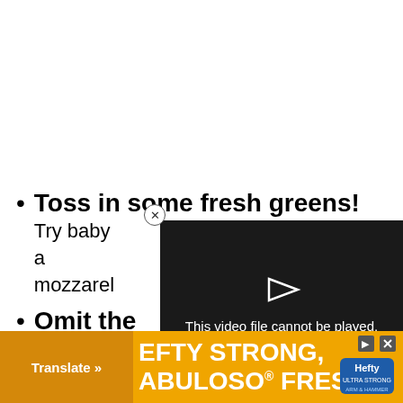Toss in some fresh greens! Try baby [spinach/arugula/mixed] mixture, a[nd fresh] mozzarel[la...]
Omit the [...] with a mix[ture...]
[Figure (screenshot): Video player showing error message: 'This video file cannot be played. (Error Code: 2 24003)' on dark background with play icon and close button]
[Figure (screenshot): Orange advertisement banner for Hefty brand showing 'EFTY STRONG, ABULOSO FRESH' text with Translate button and Hefty logo]